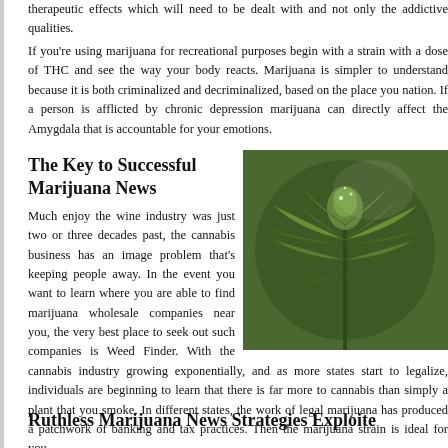therapeutic effects which will need to be dealt with and not only the addictive qualities.
If you're using marijuana for recreational purposes begin with a strain with a dose of THC and see the way your body reacts. Marijuana is simpler to understand because it is both criminalized and decriminalized, based on the place you nation. If a person is afflicted by chronic depression marijuana can directly affect the Amygdala that is accountable for your emotions.
The Key to Successful Marijuana News
[Figure (photo): Close-up photograph of a cannabis plant with green leaves and flower bud]
Much enjoy the wine industry was just two or three decades past, the cannabis business has an image problem that's keeping people away. In the event you want to learn where you are able to find marijuana wholesale companies near you, the very best place to seek out such companies is Weed Finder. With the cannabis industry growing exponentially, and as more states start to legalize, individuals are beginning to learn that there is far more to cannabis than simply a plant that you smoke. In different states, the work of legal marijuana has produced a patchwork of banking and tax practices. Then the marijuana strain is ideal for you.
Ruthless Marijuana News Strategies Exploite